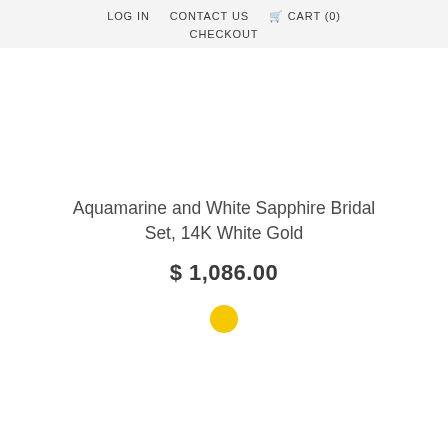LOG IN   CONTACT US   CART (0)   CHECKOUT
Aquamarine and White Sapphire Bridal Set, 14K White Gold
$ 1,086.00